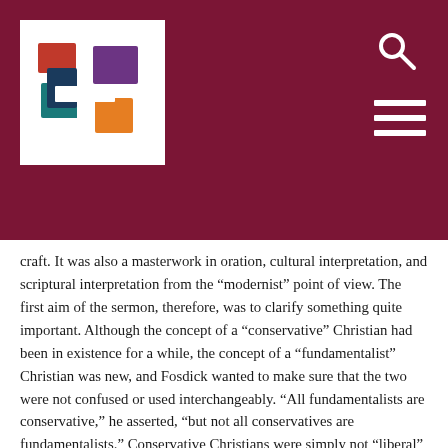[Figure (logo): Colorful stacked book/panel logo in red, purple, teal, dark blue, and yellow on white background, inside a dark maroon header bar]
craft. It was also a masterwork in oration, cultural interpretation, and scriptural interpretation from the “modernist” point of view. The first aim of the sermon, therefore, was to clarify something quite important. Although the concept of a “conservative” Christian had been in existence for a while, the concept of a “fundamentalist” Christian was new, and Fosdick wanted to make sure that the two were not confused or used interchangeably. “All fundamentalists are conservative,” he asserted, “but not all conservatives are fundamentalists.” Conservative Christians were simply not “liberal” in their interpretations of scripture or doctrinal positions. Fundamentalists, however, were “illiberal and intolerant.” It was not enough for them to disagree on points of doctrine. They found it necessary to banish those with whom they disagreed, denying them Christian fellowship and “the Christian name.” For Fosdick, not only was this approach to Christianity divisive and biblically unsound, it was also small-minded in a world filled with large